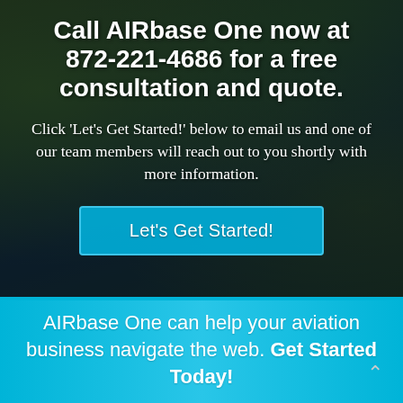Call AIRbase One now at 872-221-4686 for a free consultation and quote.
Click 'Let's Get Started!' below to email us and one of our team members will reach out to you shortly with more information.
Let's Get Started!
AIRbase One can help your aviation business navigate the web. Get Started Today!